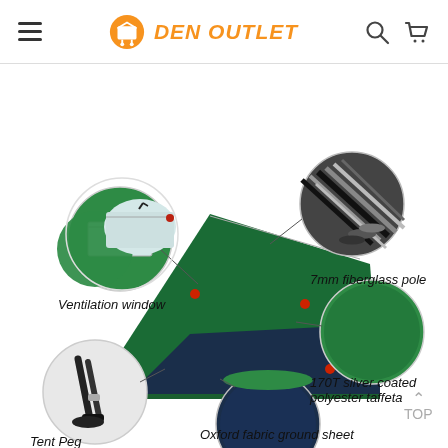Den Outlet - navigation header with hamburger menu, logo, search and cart icons
[Figure (illustration): Product detail image of a green beach/camping tent with callout circles highlighting: Ventilation window (top left), 7mm fiberglass pole (top right), 170T silver coated polyester taffeta (right), Oxford fabric ground sheet (bottom center), Tent Peg (bottom left). The tent is green on top and dark navy blue on the lower panels.]